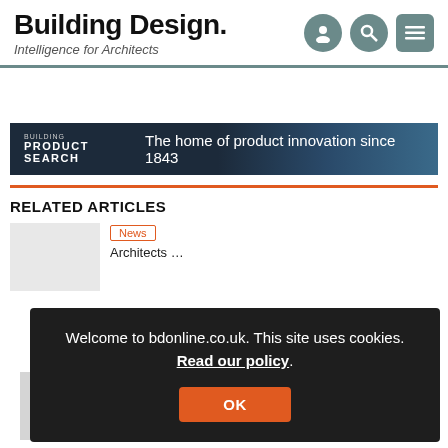Building Design. Intelligence for Architects
[Figure (infographic): Advertisement banner for Building Product Search: 'The home of product innovation since 1843']
RELATED ARTICLES
News
[Figure (screenshot): Cookie consent overlay: 'Welcome to bdonline.co.uk. This site uses cookies. Read our policy.' with OK button]
Architects' confidence falls off a cliff